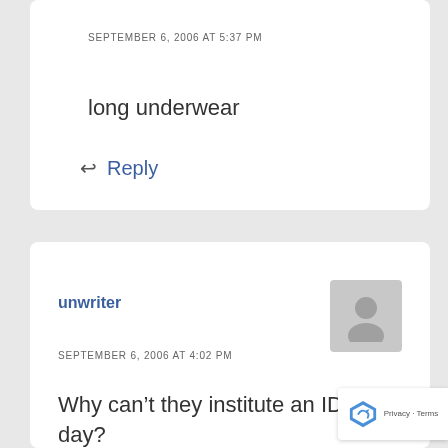SEPTEMBER 6, 2006 AT 5:37 PM
long underwear
Reply
unwriter
SEPTEMBER 6, 2006 AT 4:02 PM
Why can’t they institute an IDIOT day?
On ONE particular day any and all idiots...